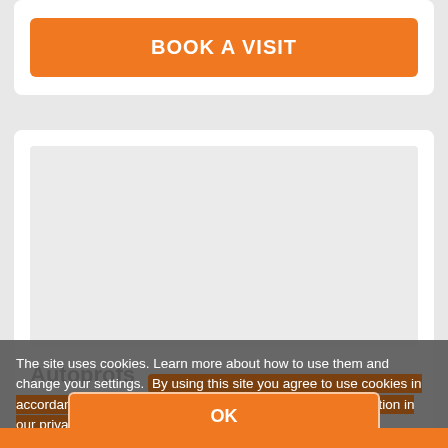BOOK A VISIT
[Figure (other): Map placeholder showing a light grey area representing a map view]
Autoprofs
Kandavas iela 17, 3101 Tukums
+371 62 *** *** ***  Show phone
The site uses cookies. Learn more about how to use them and change your settings. By using this site you agree to use cookies in accordance with your current browser settings. More information in our privacy policy.
OK